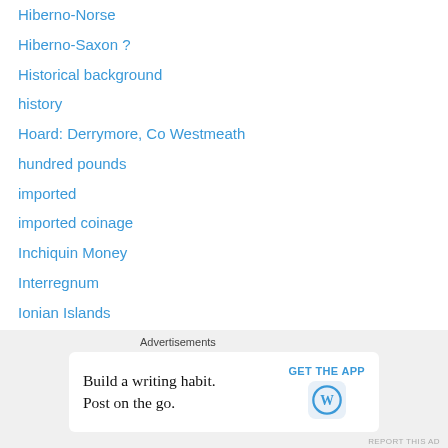Hiberno-Norse
Hiberno-Saxon ?
Historical background
history
Hoard: Derrymore, Co Westmeath
hundred pounds
imported
imported coinage
Inchiquin Money
Interregnum
Ionian Islands
IOU
Ireland
Irish
Irish Coin Database
Irish Coin Set
[Figure (other): Advertisement banner: 'Build a writing habit. Post on the go.' with WordPress logo and GET THE APP call to action]